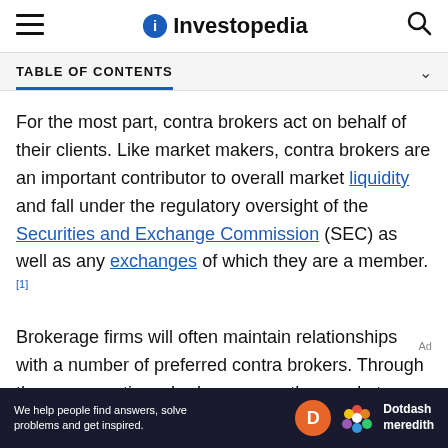Investopedia
TABLE OF CONTENTS
For the most part, contra brokers act on behalf of their clients. Like market makers, contra brokers are an important contributor to overall market liquidity and fall under the regulatory oversight of the Securities and Exchange Commission (SEC) as well as any exchanges of which they are a member.[1]
Brokerage firms will often maintain relationships with a number of preferred contra brokers. Through these connections, brokers can gather market intelligence from a wide range of quotes, helping them choose...
[Figure (other): Dotdash Meredith advertisement banner reading 'We help people find answers, solve problems and get inspired.']